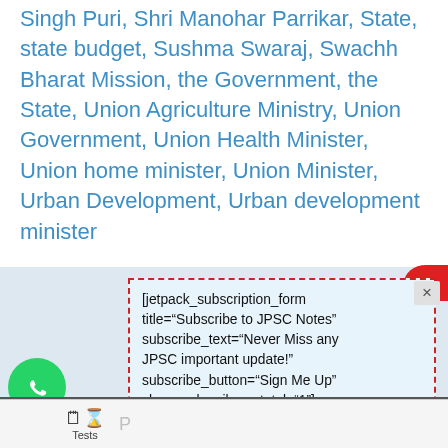Singh Puri, Shi Manohur Parrikar, State, state budget, Sushma Swaraj, Swachh Bharat Mission, the Government, the State, Union Agriculture Ministry, Union Government, Union Health Minister, Union home minister, Union Minister, Urban Development, Urban development minister
[jetpack_subscription_form title="Subscribe to JPSC Notes" subscribe_text="Never Miss any JPSC important update!" subscribe_button="Sign Me Up" show_subscribers_total="1"]